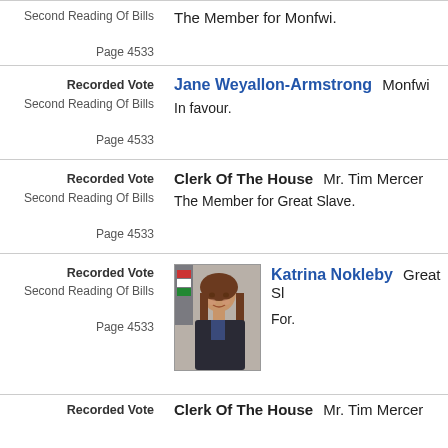Second Reading Of Bills
Page 4533
The Member for Monfwi.
Recorded Vote
Second Reading Of Bills
Page 4533
Jane Weyallon-Armstrong  Monfwi
In favour.
Recorded Vote
Second Reading Of Bills
Page 4533
Clerk Of The House  Mr. Tim Mercer
The Member for Great Slave.
[Figure (photo): Photo of Katrina Nokleby, a woman with long brown hair wearing a dark blazer, with a flag in the background.]
Recorded Vote
Second Reading Of Bills
Page 4533
Katrina Nokleby  Great Slave
For.
Recorded Vote
Clerk Of The House  Mr. Tim Mercer